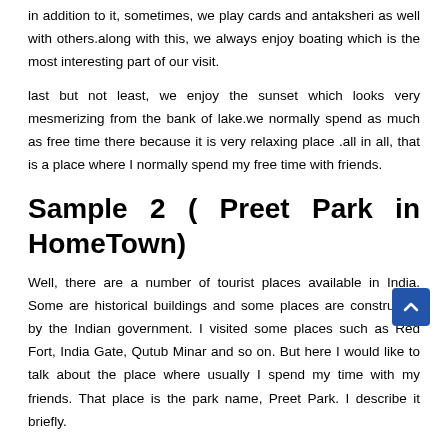in addition to it, sometimes, we play cards and antaksheri as well with others.along with this, we always enjoy boating which is the most interesting part of our visit.
last but not least, we enjoy the sunset which looks very mesmerizing from the bank of lake.we normally spend as much as free time there because it is very relaxing place .all in all, that is a place where I normally spend my free time with friends.
Sample 2 ( Preet Park in HomeTown)
Well, there are a number of tourist places available in India. Some are historical buildings and some places are constructed by the Indian government. I visited some places such as Red Fort, India Gate, Qutub Minar and so on. But here I would like to talk about the place where usually I spend my time with my friends. That place is the park name, Preet Park. I describe it briefly.